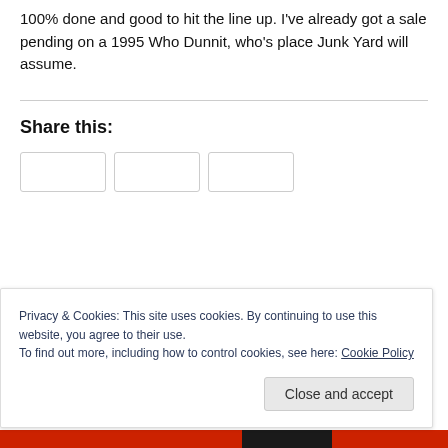100% done and good to hit the line up. I've already got a sale pending on a 1995 Who Dunnit, who's place Junk Yard will assume.
Share this:
Privacy & Cookies: This site uses cookies. By continuing to use this website, you agree to their use.
To find out more, including how to control cookies, see here: Cookie Policy
Close and accept